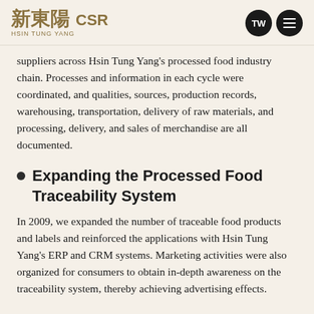新東陽 CSR HSIN TUNG YANG
suppliers across Hsin Tung Yang's processed food industry chain. Processes and information in each cycle were coordinated, and qualities, sources, production records, warehousing, transportation, delivery of raw materials, and processing, delivery, and sales of merchandise are all documented.
Expanding the Processed Food Traceability System
In 2009, we expanded the number of traceable food products and labels and reinforced the applications with Hsin Tung Yang's ERP and CRM systems. Marketing activities were also organized for consumers to obtain in-depth awareness on the traceability system, thereby achieving advertising effects.